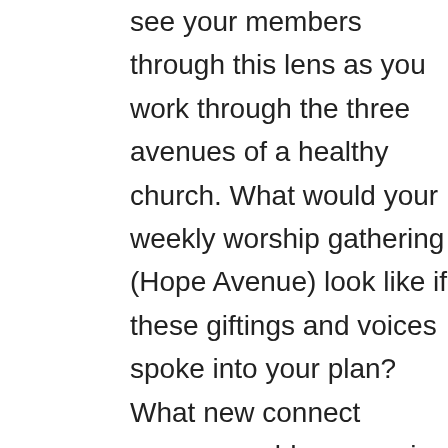see your members through this lens as you work through the three avenues of a healthy church. What would your weekly worship gathering (Hope Avenue) look like if these giftings and voices spoke into your plan? What new connect groups would you use in your discipleship pathway (Faith Avenue) that could begin to help disciples become disciple-makers? What would your next outreach event (Love Avenue) look like as members who have this giftedness and passion help you organize and lead these events?
I recently was invited to a meeting by our 22-